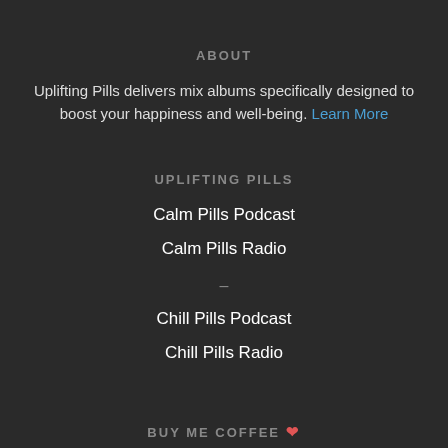ABOUT
Uplifting Pills delivers mix albums specifically designed to boost your happiness and well-being. Learn More
UPLIFTING PILLS
Calm Pills Podcast
Calm Pills Radio
–
Chill Pills Podcast
Chill Pills Radio
BUY ME COFFEE ❤
Donate